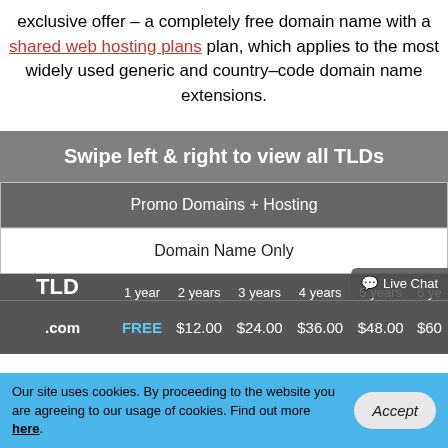exclusive offer – a completely free domain name with a shared web hosting plans plan, which applies to the most widely used generic and country–code domain name extensions.
Swipe left & right to view all TLDs
Promo Domains + Hosting
Domain Name Only
| TLD | 1 year | 2 years | 3 years | 4 years | 5 years | 6 ye... |
| --- | --- | --- | --- | --- | --- | --- |
| .com | FREE | $12.00 | $24.00 | $36.00 | $48.00 | $60... |
Our site uses cookies. By proceeding to the website you are agreeing to our usage of cookies. Find out more here.